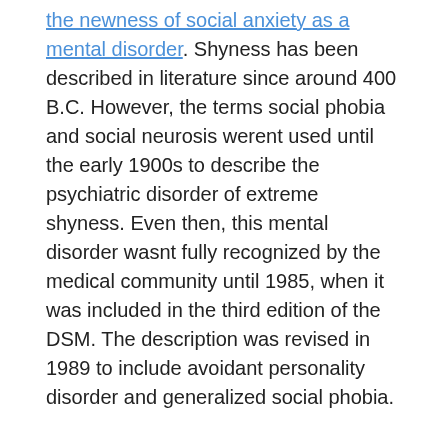the newness of social anxiety as a mental disorder. Shyness has been described in literature since around 400 B.C. However, the terms social phobia and social neurosis werent used until the early 1900s to describe the psychiatric disorder of extreme shyness. Even then, this mental disorder wasnt fully recognized by the medical community until 1985, when it was included in the third edition of the DSM. The description was revised in 1989 to include avoidant personality disorder and generalized social phobia.